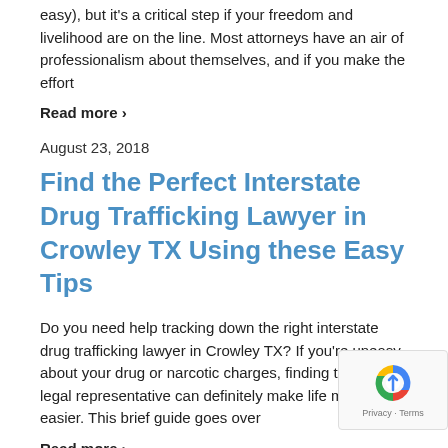easy), but it's a critical step if your freedom and livelihood are on the line. Most attorneys have an air of professionalism about themselves, and if you make the effort
Read more ›
August 23, 2018
Find the Perfect Interstate Drug Trafficking Lawyer in Crowley TX Using these Easy Tips
Do you need help tracking down the right interstate drug trafficking lawyer in Crowley TX? If you're uneasy about your drug or narcotic charges, finding the perfect legal representative can definitely make life much easier. This brief guide goes over
Read more ›
August 24, 2018